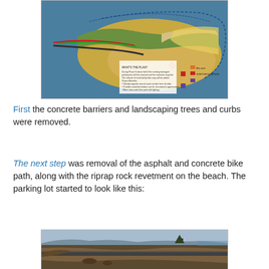[Figure (map): Aerial map/plan view of a coastal parking lot restoration project showing beach, parking areas, and project phases with color-coded overlays and legend text]
First the concrete barriers and landscaping trees and curbs were removed.
The next step was removal of the asphalt and concrete bike path, along with the riprap rock revetment on the beach. The parking lot started to look like this:
[Figure (photo): Photograph of a cleared parking lot area showing disturbed earth, remaining asphalt strip, and coastal landscape in background]